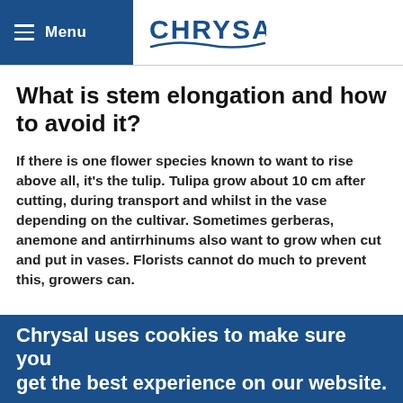Menu | CHRYSAL
What is stem elongation and how to avoid it?
If there is one flower species known to want to rise above all, it's the tulip. Tulipa grow about 10 cm after cutting, during transport and whilst in the vase depending on the cultivar. Sometimes gerberas, anemone and antirrhinums also want to grow when cut and put in vases. Florists cannot do much to prevent this, growers can.
Chrysal uses cookies to make sure you get the best experience on our website.